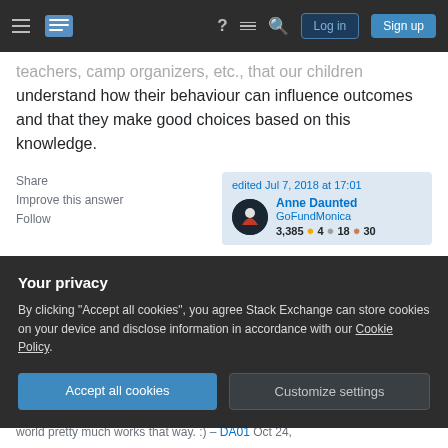Stack Exchange navigation bar with hamburger menu, logo, help, chat, search, Log in, Sign up buttons
teachers, camp organizers, etc., that our children understand how their behaviour can influence outcomes and that they make good choices based on this knowledge.
Share | Improve this answer | Follow
edited Jul 7, 2018 at 17:01 — Anne Daunted GoFundMonica — 3,385 ● 4 ● 18 ● 30
answered Mar 29, 2011 at 22:45 — JBRWilkinson — 4,242 ● 1 ● 26 ● 35
Your privacy
By clicking "Accept all cookies", you agree Stack Exchange can store cookies on your device and disclose information in accordance with our Cookie Policy.
Accept all cookies | Customize settings
world pretty much works that way. :) – DA01 Oct 24,